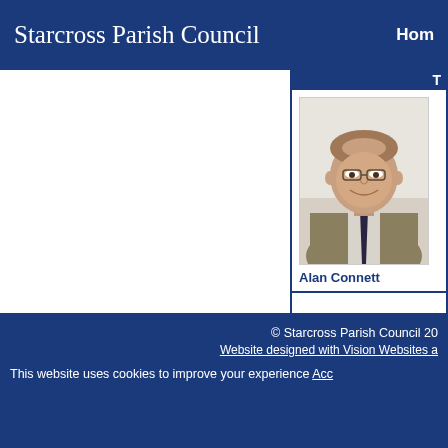Starcross Parish Council   Home
T
[Figure (photo): Portrait photo of Alan Connett, a middle-aged man wearing glasses, a suit jacket, and tie, smiling at the camera]
Alan Connett
© Starcross Parish Council 20  Website designed with Vision Websites  This website uses cookies to improve your experience Acc